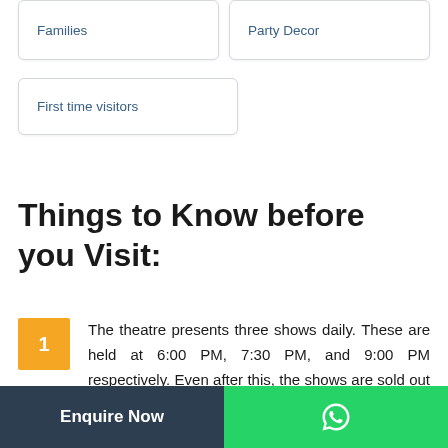Families
Party Decor
First time visitors
Things to Know before you Visit:
1  The theatre presents three shows daily. These are held at 6:00 PM, 7:30 PM, and 9:00 PM respectively. Even after this, the shows are sold out days in advance. FOr this
Enquire Now
WhatsApp icon